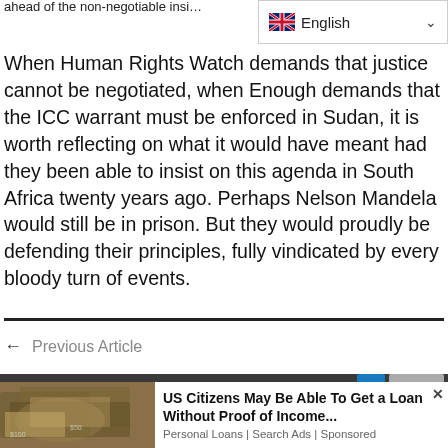ahead of the non-negotiable insi…
[Figure (screenshot): English language selector dropdown with UK flag icon]
When Human Rights Watch demands that justice cannot be negotiated, when Enough demands that the ICC warrant must be enforced in Sudan, it is worth reflecting on what it would have meant had they been able to insist on this agenda in South Africa twenty years ago. Perhaps Nelson Mandela would still be in prison. But they would proudly be defending their principles, fully vindicated by every bloody turn of events.
← Previous Article
[Figure (photo): Advertisement image showing US dollar banknotes with ad text: US Citizens May Be Able To Get a Loan Without Proof of Income... Personal Loans | Search Ads | Sponsored]